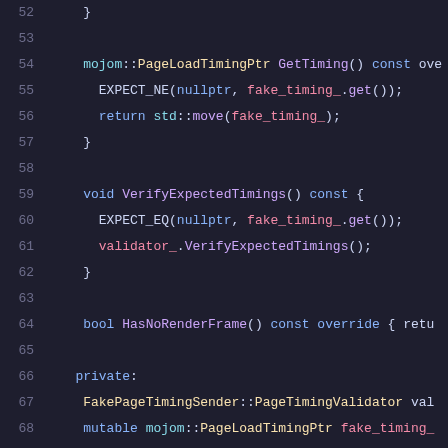52    }
53
54      mojom::PageLoadTimingPtr GetTiming() const ove
55        EXPECT_NE(nullptr, fake_timing_.get());
56        return std::move(fake_timing_);
57      }
58
59      void VerifyExpectedTimings() const {
60        EXPECT_EQ(nullptr, fake_timing_.get());
61        validator_.VerifyExpectedTimings();
62      }
63
64      bool HasNoRenderFrame() const override { retu
65
66     private:
67      FakePageTimingSender::PageTimingValidator val
68      mutable mojom::PageLoadTimingPtr fake_timing_
69    };
70
71    typedef testing::Test MetricsRenderFrameObserve
72